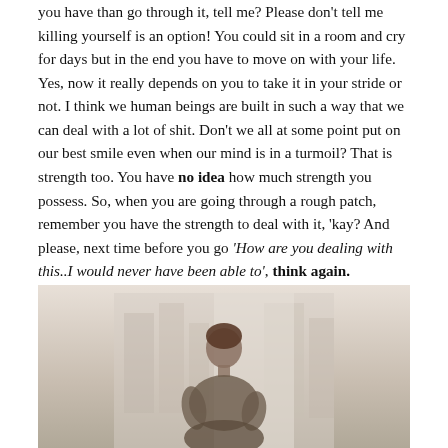you have than go through it, tell me? Please don't tell me killing yourself is an option! You could sit in a room and cry for days but in the end you have to move on with your life. Yes, now it really depends on you to take it in your stride or not. I think we human beings are built in such a way that we can deal with a lot of shit. Don't we all at some point put on our best smile even when our mind is in a turmoil? That is strength too. You have no idea how much strength you possess. So, when you are going through a rough patch, remember you have the strength to deal with it, 'kay? And please, next time before you go 'How are you dealing with this..I would never have been able to', think again.
[Figure (photo): A person (appears to be a woman with short hair) sitting, photographed in a light, soft-toned indoor setting with blurred background.]